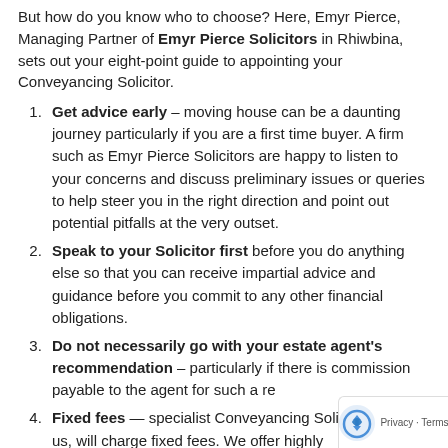But how do you know who to choose? Here, Emyr Pierce, Managing Partner of Emyr Pierce Solicitors in Rhiwbina, sets out your eight-point guide to appointing your Conveyancing Solicitor.
Get advice early – moving house can be a daunting journey particularly if you are a first time buyer. A firm such as Emyr Pierce Solicitors are happy to listen to your concerns and discuss preliminary issues or queries to help steer you in the right direction and point out potential pitfalls at the very outset.
Speak to your Solicitor first before you do anything else so that you can receive impartial advice and guidance before you commit to any other financial obligations.
Do not necessarily go with your estate agent's recommendation – particularly if there is commission payable to the agent for such a re...
Fixed fees — specialist Conveyancing Solicitors, such as us, will charge fixed fees. We offer highly...